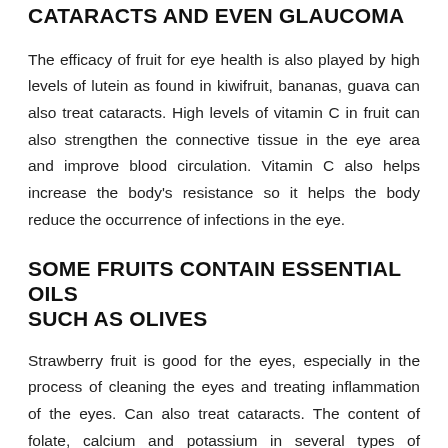CATARACTS AND EVEN GLAUCOMA
The efficacy of fruit for eye health is also played by high levels of lutein as found in kiwifruit, bananas, guava can also treat cataracts. High levels of vitamin C in fruit can also strengthen the connective tissue in the eye area and improve blood circulation. Vitamin C also helps increase the body's resistance so it helps the body reduce the occurrence of infections in the eye.
SOME FRUITS CONTAIN ESSENTIAL OILS SUCH AS OLIVES
Strawberry fruit is good for the eyes, especially in the process of cleaning the eyes and treating inflammation of the eyes. Can also treat cataracts. The content of folate, calcium and potassium in several types of oranges, bananas, salak. How great the benefits of fruit for eye health.